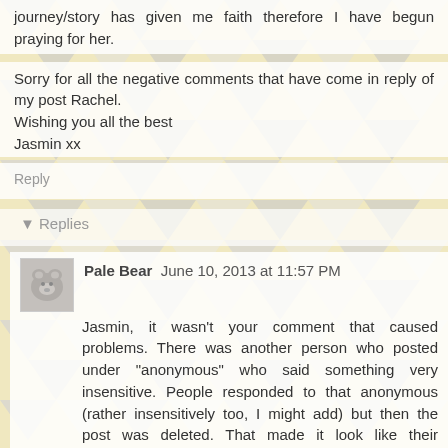journey/story has given me faith therefore I have begun praying for her.
Sorry for all the negative comments that have come in reply of my post Rachel.
Wishing you all the best
Jasmin xx
Reply
▾ Replies
Pale Bear  June 10, 2013 at 11:57 PM
Jasmin, it wasn't your comment that caused problems. There was another person who posted under "anonymous" who said something very insensitive. People responded to that anonymous (rather insensitively too, I might add) but then the post was deleted. That made it look like their comments were directed at you, but they most certainly weren't.
Your comment about praying was beautiful! As